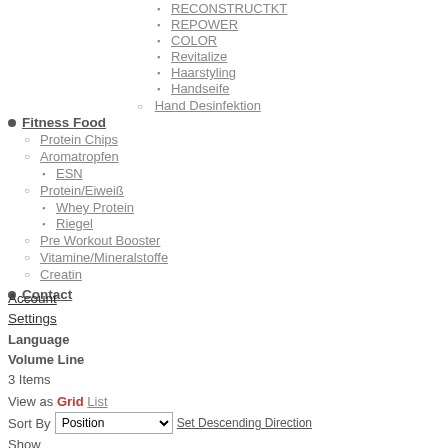RECONSTRUCTKT
REPOWER
COLOR
Revitalize
Haarstyling
Handseife
Hand Desinfektion
Fitness Food
Protein Chips
Aromatropfen
ESN
Protein/Eiweiß
Whey Protein
Riegel
Pre Workout Booster
Vitamine/Mineralstoffe
Creatin
Contact
Account
Settings
Language
Volume Line
3 Items
View as Grid List
Sort By Position Set Descending Direction
Show